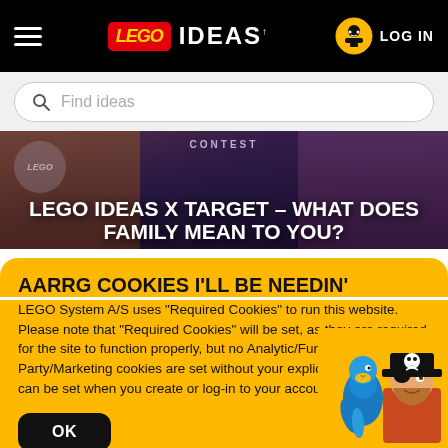LEGO IDEAS — Navigation header with hamburger menu, LEGO Ideas logo, and LOG IN button
[Figure (screenshot): Search bar with magnifying glass icon and placeholder text 'Find ideas']
[Figure (photo): Contest hero banner showing family photo with overlay text: CONTEST — LEGO IDEAS X TARGET – WHAT DOES FAMILY MEAN TO YOU?]
AARRG COOKIES I'LL BE NEEDIN'
LEGO System A/S uses "Required Cookies" to run this website. Please note that "Required Cookies" will be set, as they are required for the site to function properly, but no Analytic/Functional or Third Party/Marketing cookies are set without your explicit consent, which can be set when you create or log-in to your account.
[Figure (illustration): LEGO pirate minifigure with parrot and pirate hat in bottom-right corner of cookie notice]